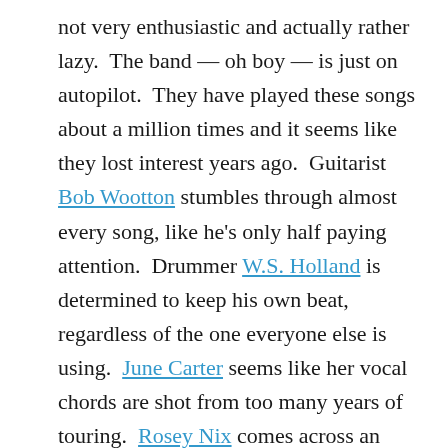not very enthusiastic and actually rather lazy.  The band — oh boy — is just on autopilot.  They have played these songs about a million times and it seems like they lost interest years ago.  Guitarist Bob Wootton stumbles through almost every song, like he's only half paying attention.  Drummer W.S. Holland is determined to keep his own beat, regardless of the one everyone else is using.  June Carter seems like her vocal chords are shot from too many years of touring.  Rosey Nix comes across an amateur with a faux-gravelly voice she can't control well enough.  And John Carter Cash is a pox on the proceedings, with nothing to offer but terrible clichés magnified to try to fill out a stage he doesn't belong on.  Kris Kristofferson pops in for an okay cameo, but he's not enough to improve the situation.  Earl Poole Ball is still around on piano, and he's actually fine, but, like